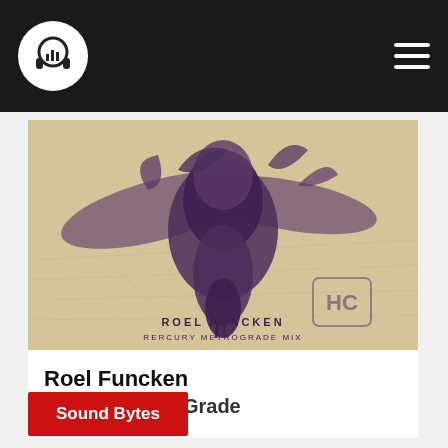Roel Funcken – RerCury MetroGrade Mix music blog
[Figure (photo): Album cover art for Roel Funcken 'RerCury MetroGrade Mix' – sepia-toned illustration of an abstract bird/creature with foliage, text 'ROEL FUNCKEN RERCURY METROGRADE MIX' at the bottom, HC label logo in the lower right corner]
Roel Funcken
RerCury MetroGrade
Sound Bytes